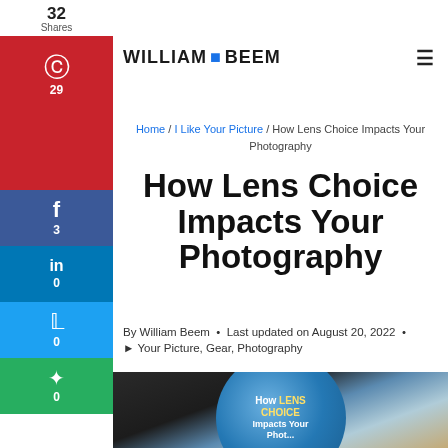WILLIAM BEEM
32 Shares
Home / I Like Your Picture / How Lens Choice Impacts Your Photography
How Lens Choice Impacts Your Photography
By William Beem • Last updated on August 20, 2022 •
I Like Your Picture, Gear, Photography
[Figure (photo): Hero image of a camera lens with text overlay reading How LENS CHOICE Impacts Your Photography on a blue circular element]